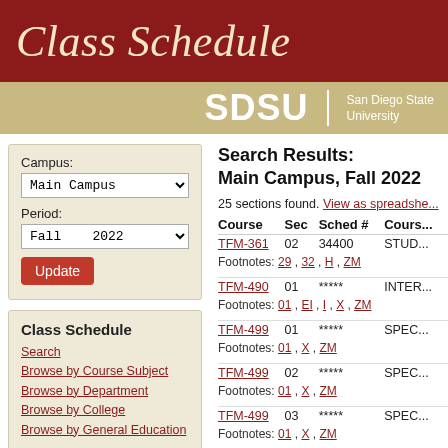Class Schedule
SDSU San Diego State University
Campus: Main Campus
Period: Fall 2022
Class Schedule
Search
Browse by Course Subject
Browse by Department
Browse by College
Browse by General Education
Search Results: Main Campus, Fall 2022
25 sections found. View as spreadsheet
| Course | Sec | Sched # | Course Name |
| --- | --- | --- | --- |
| TFM-361 | 02 | 34400 | STUD... |
| Footnotes: 29, 32, H, ZM |  |  |  |
| TFM-490 | 01 | ***** | INTER... |
| Footnotes: 01, EI, I, X, ZM |  |  |  |
| TFM-499 | 01 | ***** | SPEC... |
| Footnotes: 01, X, ZM |  |  |  |
| TFM-499 | 02 | ***** | SPEC... |
| Footnotes: 01, X, ZM |  |  |  |
| TFM-499 | 03 | ***** | SPEC... |
| Footnotes: 01, X, ZM |  |  |  |